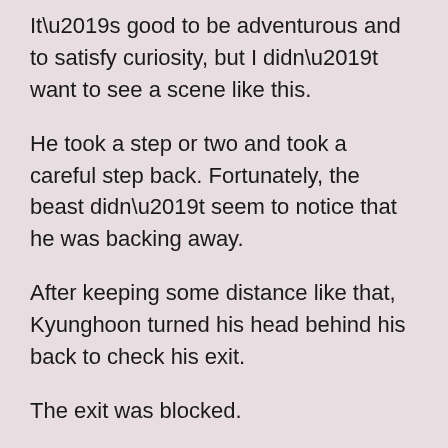It’s good to be adventurous and to satisfy curiosity, but I didn’t want to see a scene like this.
He took a step or two and took a careful step back. Fortunately, the beast didn’t seem to notice that he was backing away.
After keeping some distance like that, Kyunghoon turned his head behind his back to check his exit.
The exit was blocked.